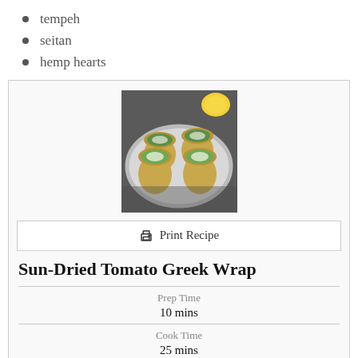tempeh
seitan
hemp hearts
[Figure (photo): Food photo showing several rolled wraps filled with green vegetables and white cheese (feta), arranged in a round white dish with a lemon visible in the background]
Print Recipe
Sun-Dried Tomato Greek Wrap
Prep Time
10 mins
Cook Time
25 mins